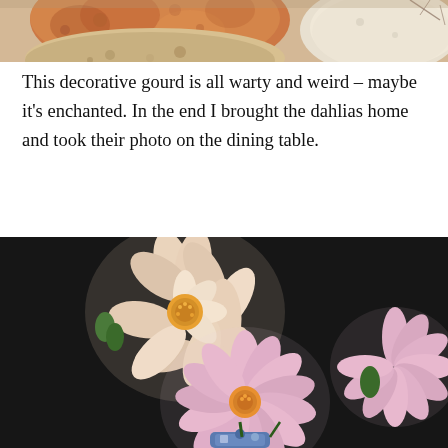[Figure (photo): Top portion of a decorative gourd with orange, beige and mottled coloring, with a white gourd visible at right edge and bare branches in background]
This decorative gourd is all warty and weird – maybe it’s enchanted. In the end I brought the dahlias home and took their photo on the dining table.
[Figure (photo): Dahlias on a dark black background on a dining table. A large cream/peach dahlia with orange center in upper left and smaller pink dahlias with orange centers in lower center and right. A decorative blue and white vase partially visible at bottom.]